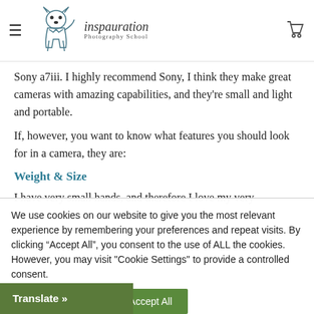inspauration Photography School
Sony a7iii. I highly recommend Sony, I think they make great cameras with amazing capabilities, and they're small and light and portable.
If, however, you want to know what features you should look for in a camera, they are:
Weight & Size
I have very small hands, and therefore I love my very
We use cookies on our website to give you the most relevant experience by remembering your preferences and repeat visits. By clicking “Accept All”, you consent to the use of ALL the cookies. However, you may visit "Cookie Settings" to provide a controlled consent.